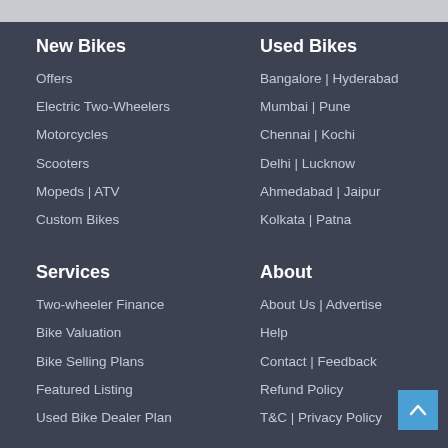New Bikes
Offers
Electric Two-Wheelers
Motorcycles
Scooters
Mopeds | ATV
Custom Bikes
Used Bikes
Bangalore | Hyderabad
Mumbai | Pune
Chennai | Kochi
Delhi | Lucknow
Ahmedabad | Jaipur
Kolkata | Patna
Services
Two-wheeler Finance
Bike Valuation
Bike Selling Plans
Featured Listing
Used Bike Dealer Plan
About
About Us | Advertise
Help
Contact | Feedback
Refund Policy
T&C | Privacy Policy